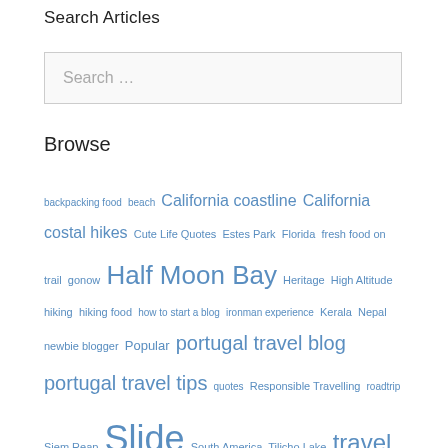Search Articles
Search …
Browse
backpacking food  beach  California coastline  California costal hikes  Cute Life Quotes  Estes Park  Florida  fresh food on trail  gonow  Half Moon Bay  Heritage  High Altitude  hiking  hiking food  how to start a blog  ironman experience  Kerala  Nepal  newbie blogger  Popular  portugal travel blog  portugal travel tips  quotes  Responsible Travelling  roadtrip  Siem Reap  Slide  South America  Tilicho Lake  travel portugal blog  Travel With Kids Quotes  tree planting quotes  Turkey  vegan backpacking food  vegan food on hike  vegetarian backpacking food  vegetarian food on hike  visit portugal  walking quotes  Washington DC  what is portugal famous for  why go to portugal